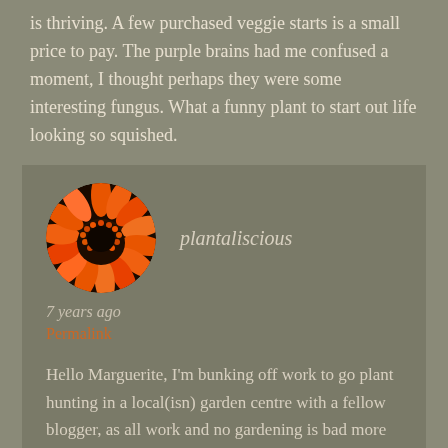is thriving. A few purchased veggie starts is a small price to pay. The purple brains had me confused a moment, I thought perhaps they were some interesting fungus. What a funny plant to start out life looking so squished.
[Figure (photo): Circular avatar image of an orange flower (gaillardia or similar) close-up, showing orange petals and dark center with orange tipped stamens.]
plantaliscious
7 years ago
Permalink
Hello Marguerite, I'm bunking off work to go plant hunting in a local(isn) garden centre with a fellow blogger, as all work and no gardening is bad more my mood and